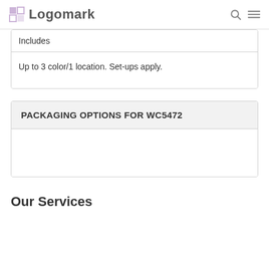Logomark
| Includes |
| --- |
| Up to 3 color/1 location. Set-ups apply. |
PACKAGING OPTIONS FOR WC5472
Our Services